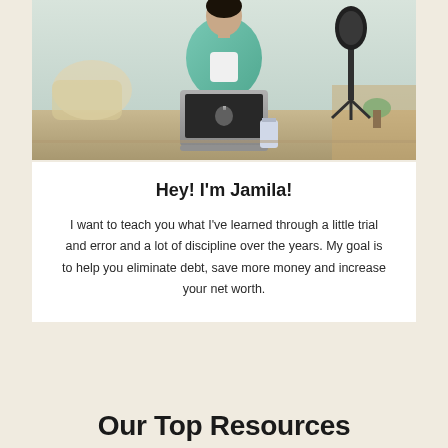[Figure (photo): A woman in a teal blazer sitting at a desk with an Apple MacBook laptop and a microphone on a tripod stand. She is seated in what appears to be a home or studio setting.]
Hey! I'm Jamila!
I want to teach you what I've learned through a little trial and error and a lot of discipline over the years. My goal is to help you eliminate debt, save more money and increase your net worth.
Our Top Resources